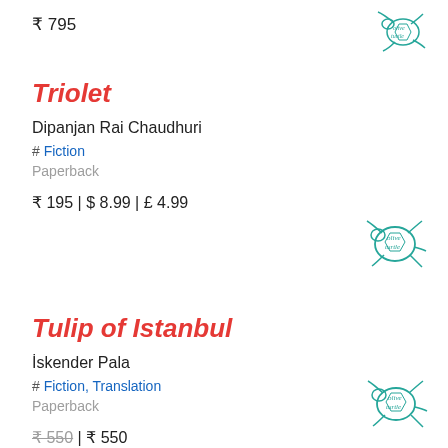₹ 795
[Figure (logo): Olive Turtle publisher logo - teal turtle illustration with cursive 'olive turtle' text, partially cropped]
Triolet
Dipanjan Rai Chaudhuri
# Fiction
Paperback
₹ 195 | $ 8.99 | £ 4.99
[Figure (logo): Olive Turtle publisher logo - teal turtle illustration with cursive 'olive turtle' text]
Tulip of Istanbul
İskender Pala
# Fiction, Translation
Paperback
₹ 550 | ₹ 550
[Figure (logo): Olive Turtle publisher logo - teal turtle illustration with cursive 'olive turtle' text]